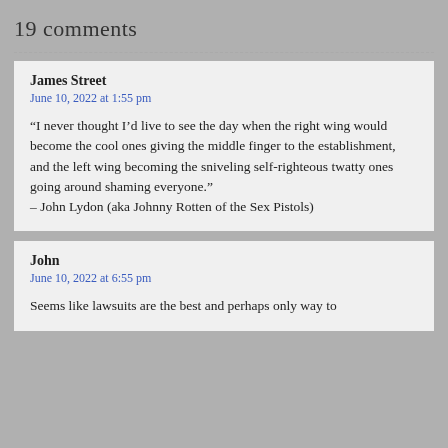19 comments
James Street
June 10, 2022 at 1:55 pm

“I never thought I’d live to see the day when the right wing would become the cool ones giving the middle finger to the establishment, and the left wing becoming the sniveling self-righteous twatty ones going around shaming everyone.”
– John Lydon (aka Johnny Rotten of the Sex Pistols)
John
June 10, 2022 at 6:55 pm

Seems like lawsuits are the best and perhaps only way to